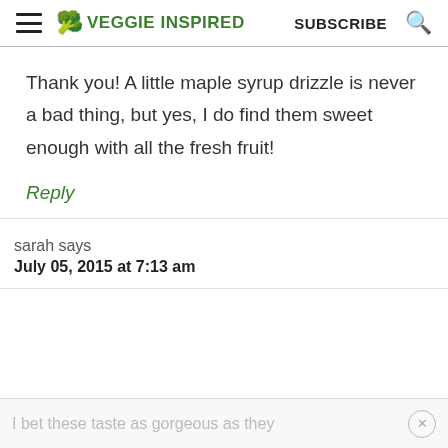VEGGIE INSPIRED | SUBSCRIBE
Thank you! A little maple syrup drizzle is never a bad thing, but yes, I do find them sweet enough with all the fresh fruit!
Reply
sarah says
July 05, 2015 at 7:13 am
I bet these taste as gorgeous as they